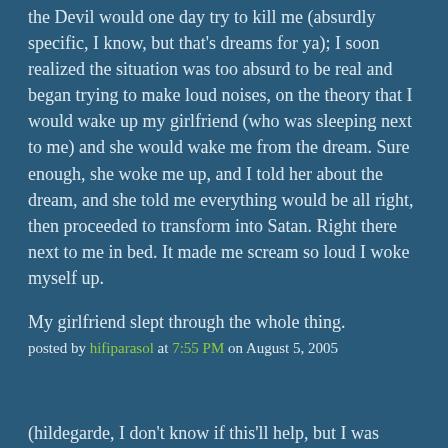the Devil would one day try to kill me (absurdly specific, I know, but that's dreams for ya); I soon realized the situation was too absurd to be real and began trying to make loud noises, on the theory that I would wake up my girlfriend (who was sleeping next to me) and she would wake me from the dream. Sure enough, she woke me up, and I told her about the dream, and she told me everything would be all right, then proceeded to transform into Satan. Right there next to me in bed. It made me scream so loud I woke myself up.
My girlfriend slept through the whole thing.
posted by hifiparasol at 7:55 PM on August 5, 2005
(hildegarde, I don't know if this'll help, but I was plagued by the same sort of dreams throughout my 20's, usually involving crazy guys with knives stalking some person who I